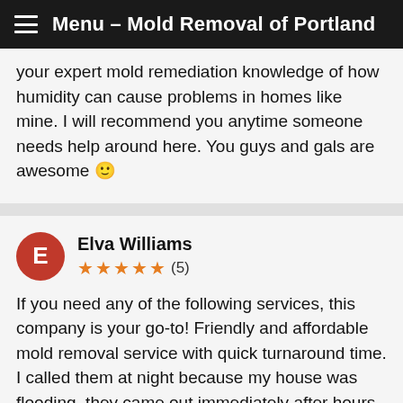Menu – Mold Removal of Portland
your expert mold remediation knowledge of how humidity can cause problems in homes like mine. I will recommend you anytime someone needs help around here. You guys and gals are awesome 🙂
Elva Williams ★★★★★ (5)
If you need any of the following services, this company is your go-to! Friendly and affordable mold removal service with quick turnaround time. I called them at night because my house was flooding–they came out immediately after hours to take care of business while we cleaned up all around us; then followed up by text